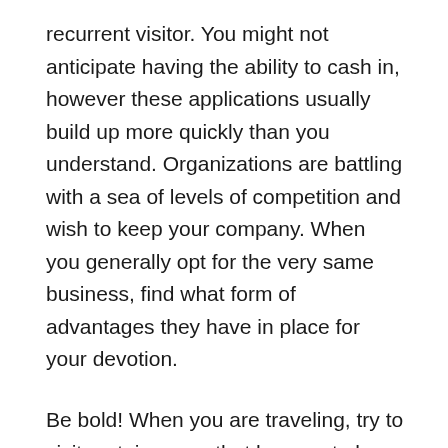recurrent visitor. You might not anticipate having the ability to cash in, however these applications usually build up more quickly than you understand. Organizations are battling with a sea of levels of competition and wish to keep your company. When you generally opt for the very same business, find what form of advantages they have in place for your devotion.
Be bold! When you are traveling, try to visit certain areas that happen to be away from the defeated path. This will help you to experience several of the nearby traditions. It's constantly enjoyable to use new and various food items in addition to practical experience interesting things! It will be possible to fondly reminisce onto it after.